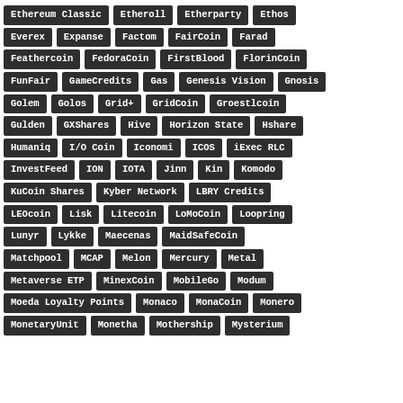Ethereum Classic
Etheroll
Etherparty
Ethos
Everex
Expanse
Factom
FairCoin
Farad
Feathercoin
FedoraCoin
FirstBlood
FlorinCoin
FunFair
GameCredits
Gas
Genesis Vision
Gnosis
Golem
Golos
Grid+
GridCoin
Groestlcoin
Gulden
GXShares
Hive
Horizon State
Hshare
Humaniq
I/O Coin
Iconomi
ICOS
iExec RLC
InvestFeed
ION
IOTA
Jinn
Kin
Komodo
KuCoin Shares
Kyber Network
LBRY Credits
LEOcoin
Lisk
Litecoin
LoMoCoin
Loopring
Lunyr
Lykke
Maecenas
MaidSafeCoin
Matchpool
MCAP
Melon
Mercury
Metal
Metaverse ETP
MinexCoin
MobileGo
Modum
Moeda Loyalty Points
Monaco
MonaCoin
Monero
MonetaryUnit
Monetha
Mothership
Mysterium